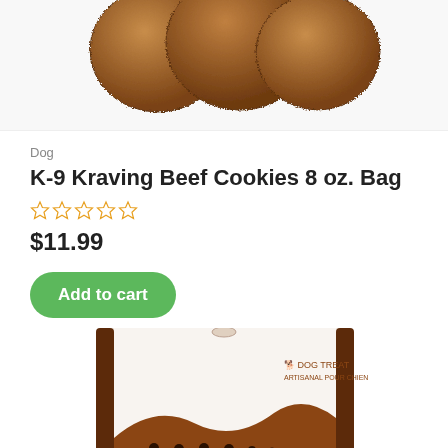[Figure (photo): Top portion of dog treat cookies (round, textured beef cookies) on white background, partially cropped at top]
Dog
K-9 Kraving Beef Cookies 8 oz. Bag
[Figure (other): Star rating widget showing 0 out of 5 stars (empty gold stars)]
$11.99
Add to cart
[Figure (photo): PureBites brand dog treat bag, brown and white packaging showing the PureBites logo with dog/cat silhouettes and a USA made seal at the bottom]